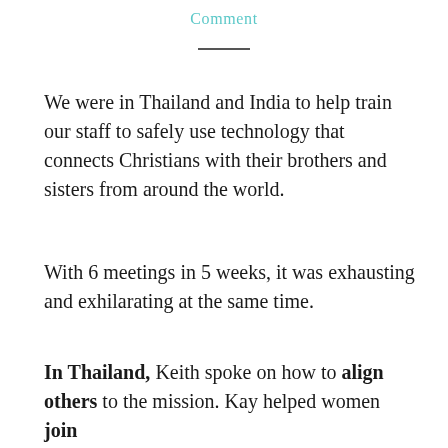Comment
We were in Thailand and India to help train our staff to safely use technology that connects Christians with their brothers and sisters from around the world.
With 6 meetings in 5 weeks, it was exhausting and exhilarating at the same time.
In Thailand, Keith spoke on how to align others to the mission. Kay helped women join the…